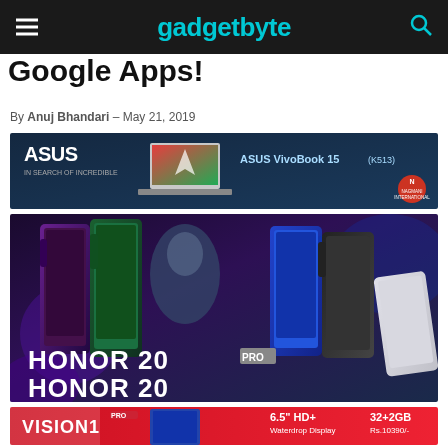gadgetbyte
Google Apps!
By Anuj Bhandari – May 21, 2019
[Figure (photo): ASUS VivoBook 15 (K513) advertisement banner with dark blue background, ASUS logo, laptop image, and Nagmani International branding]
[Figure (photo): Honor 20 Pro and Honor 20 smartphone advertisement showing multiple phones in purple, teal, blue, black and white colors against a floral background]
[Figure (photo): Partial advertisement banner in red showing a smartphone with 6.5-inch HD+ Waterdrop Display, 32+2GB specs]